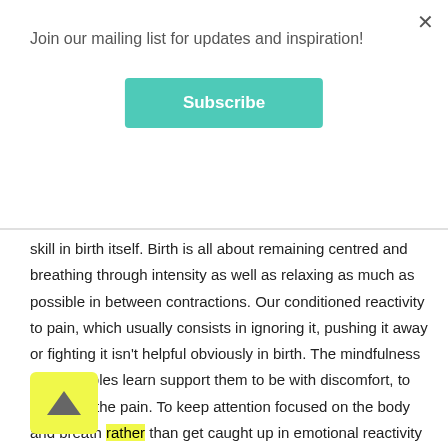Join our mailing list for updates and inspiration!
Subscribe
skill in birth itself. Birth is all about remaining centred and breathing through intensity as well as relaxing as much as possible in between contractions. Our conditioned reactivity to pain, which usually consists in ignoring it, pushing it away or fighting it isn't helpful obviously in birth. The mindfulness skills couples learn support them to be with discomfort, to relax into the pain. To keep attention focused on the body and breath rather than get caught up in emotional reactivity or fearful thoughts. We do a few series of pain practices together (holding ice cubes) and use a variety of